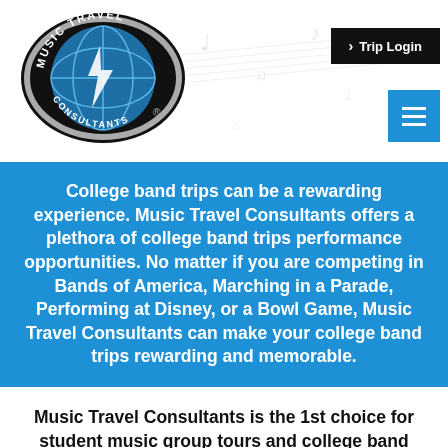Music Travel Consultants — Trip Login | Menu
[Figure (logo): Music Travel Consultants circular logo with blue globe and silver lettering on black oval background]
College band trips can be a rewarding experience. Music Travel Consultants offers a plethora of college band trips performance opportunities. No matter if you are competing in Bands of America, Marching in a Parade, Performing at Disney, or a Bowl Game, Music Travel Consultants can make your college band trips rewarding and memorable.
Music Travel Consultants is the 1st choice for student music group tours and college band trips